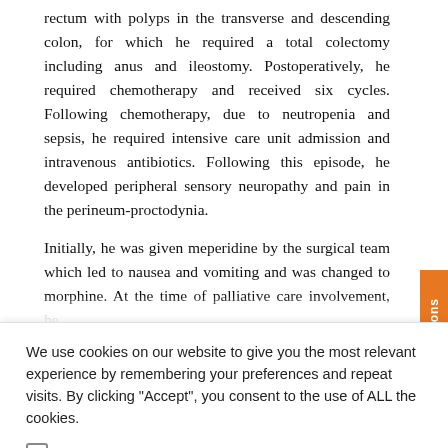rectum with polyps in the transverse and descending colon, for which he required a total colectomy including anus and ileostomy. Postoperatively, he required chemotherapy and received six cycles. Following chemotherapy, due to neutropenia and sepsis, he required intensive care unit admission and intravenous antibiotics. Following this episode, he developed peripheral sensory neuropathy and pain in the perineum-proctodynia.
Initially, he was given meperidine by the surgical team which led to nausea and vomiting and was changed to morphine. At the time of palliative care involvement, he
We use cookies on our website to give you the most relevant experience by remembering your preferences and repeat visits. By clicking "Accept", you consent to the use of ALL the cookies.
Do not sell my personal information.
Cookie Settings
Accept